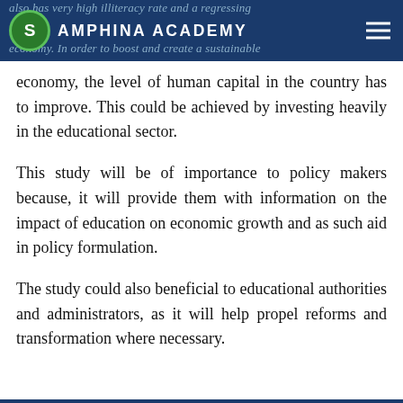AMPHINA ACADEMY
also has very high illiteracy rate and a regressing economy. In order to boost and create a sustainable economy, the level of human capital in the country has to improve. This could be achieved by investing heavily in the educational sector.
This study will be of importance to policy makers because, it will provide them with information on the impact of education on economic growth and as such aid in policy formulation.
The study could also beneficial to educational authorities and administrators, as it will help propel reforms and transformation where necessary.